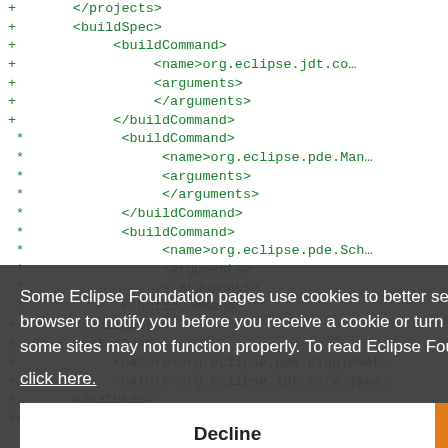+ </projects>
+ <buildSpec>
+ <buildCommand>
+ <name>org.eclipse.jdt.co...
+ <arguments>
+ </arguments>
+ </buildCommand>
* <buildCommand>
* <name>org.eclipse.pde.Man...
* <arguments>
* </arguments>
* </buildCommand>
* <buildCommand>
* <name>org.eclipse.pde.Sch...
* <arguments>
* </arguments>
* </buildCommand>
+ </buildSpec>
+ <natures>
+ <nature>org.eclipse.pde.PluginNat...
+ <nature>org.eclipse.jdt.core.java...
+ </natures>
+</projectDescription>
Some Eclipse Foundation pages use cookies to better serve you when you return to the site. You can set your browser to notify you before you receive a cookie or turn off cookies. If you do so, however, some areas of some sites may not function properly. To read Eclipse Foundation Privacy Policy click here.
Decline
Allow cookies
diff --git a/jpa/plugins/org.eclipse.int.eclipse...